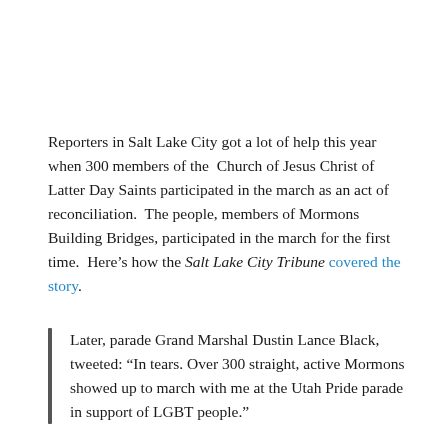Reporters in Salt Lake City got a lot of help this year when 300 members of the  Church of Jesus Christ of Latter Day Saints participated in the march as an act of reconciliation.  The people, members of Mormons Building Bridges, participated in the march for the first time.  Here’s how the Salt Lake City Tribune covered the story.
Later, parade Grand Marshal Dustin Lance Black, tweeted: “In tears. Over 300 straight, active Mormons showed up to march with me at the Utah Pride parade in support of LGBT people.”